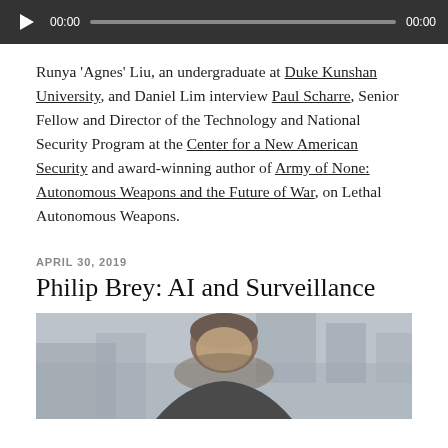[Figure (other): Audio player with play button, timestamp 00:00, progress bar, and end time 00:00 on dark background]
Runya ‘Agnes’ Liu, an undergraduate at Duke Kunshan University, and Daniel Lim interview Paul Scharre, Senior Fellow and Director of the Technology and National Security Program at the Center for a New American Security and award-winning author of Army of None: Autonomous Weapons and the Future of War, on Lethal Autonomous Weapons.
APRIL 30, 2019
Philip Brey: AI and Surveillance
[Figure (photo): Photo of a man with gray hair outdoors with a blurred urban background]